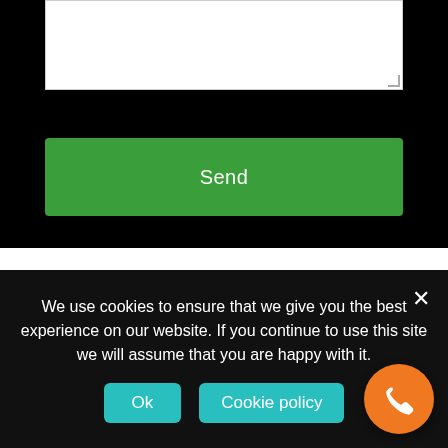[Figure (screenshot): Text area input box (white, empty) at the top of a black-bordered form section]
[Figure (screenshot): Green Send button inside black bordered form area]
[Figure (screenshot): Large green rounded WhatsApp Us button with WhatsApp logo icon on white background]
We use cookies to ensure that we give you the best experience on our website. If you continue to use this site we will assume that you are happy with it.
[Figure (screenshot): Cookie consent bar with Ok and Cookie policy teal buttons, close X, and orange floating call button]